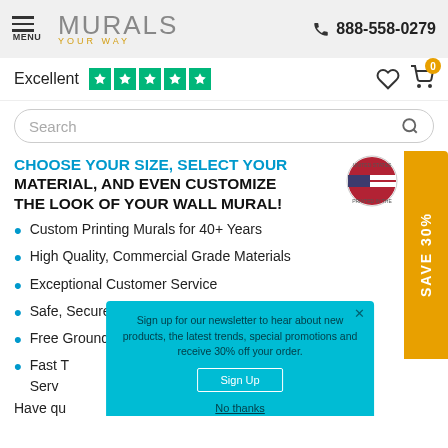[Figure (logo): Murals Your Way logo with hamburger menu and phone number 888-558-0279]
Excellent ★★★★★
[Figure (screenshot): Search bar with magnifying glass icon]
CHOOSE YOUR SIZE, SELECT YOUR MATERIAL, AND EVEN CUSTOMIZE THE LOOK OF YOUR WALL MURAL!
Custom Printing Murals for 40+ Years
High Quality, Commercial Grade Materials
Exceptional Customer Service
Safe, Secure Shopping
Free Ground Shipping in Contiguous US
Fast Turnaround with Standard & Rush Service
Have qu... local
Sign up for our newsletter to hear about new products, the latest trends, special promotions and receive 30% off your order.